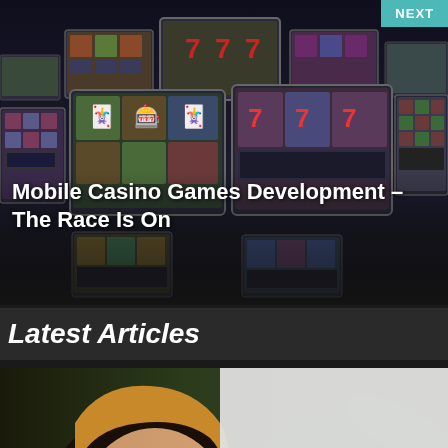[Figure (screenshot): Mobile casino games on multiple screens displayed in a dark 3D layout — slot machines and casino game interfaces visible across many monitor screens]
NEXT
Mobile Casino Games Development – The Race Is On
Latest Articles
[Figure (photo): Movie/TV show promotional image showing a woman with blonde hair looking surprised or scared, with jungle/green foliage in background, overlaid with text 'WHAT'S NEW ON NETFLIX' in large red stylized letters]
[Figure (screenshot): Loading overlay with media text and a close X button on a light gray background]